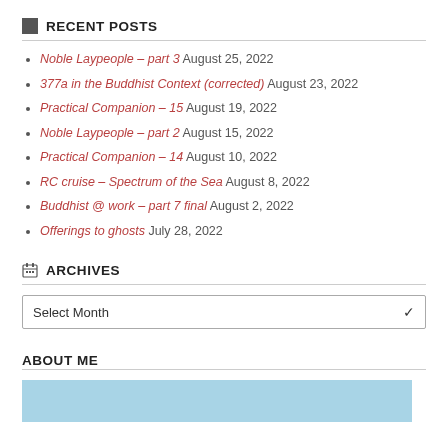RECENT POSTS
Noble Laypeople – part 3 August 25, 2022
377a in the Buddhist Context (corrected) August 23, 2022
Practical Companion – 15 August 19, 2022
Noble Laypeople – part 2 August 15, 2022
Practical Companion – 14 August 10, 2022
RC cruise – Spectrum of the Sea August 8, 2022
Buddhist @ work – part 7 final August 2, 2022
Offerings to ghosts July 28, 2022
ARCHIVES
Select Month
ABOUT ME
[Figure (photo): Blue sky photo for About Me section]